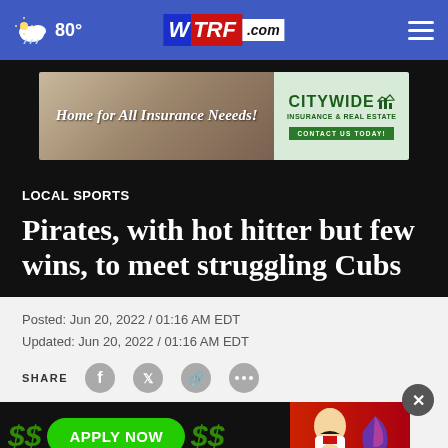WTRF.com — 80° weather
[Figure (screenshot): CityWide Insurance & Real Estate advertisement banner: 'Home for All Insurance Neeeds!' with CityWide logo and 'Contact Us Today!' button]
LOCAL SPORTS
Pirates, with hot hitter but few wins, to meet struggling Cubs
Posted: Jun 20, 2022 / 01:16 AM EDT
Updated: Jun 20, 2022 / 01:16 AM EDT
SHARE
[Figure (screenshot): Advertisement banner: 'APPLY NOW' button with dollar signs and KFC/Taco Bell logos]